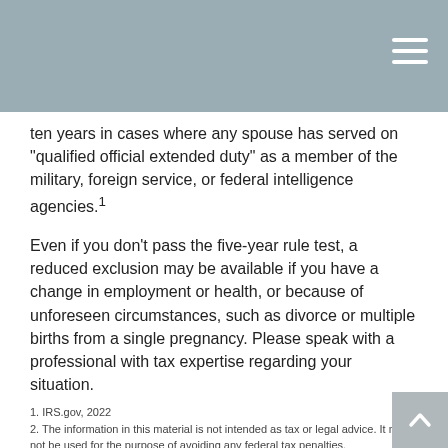ten years in cases where any spouse has served on "qualified official extended duty" as a member of the military, foreign service, or federal intelligence agencies.¹
Even if you don't pass the five-year rule test, a reduced exclusion may be available if you have a change in employment or health, or because of unforeseen circumstances, such as divorce or multiple births from a single pregnancy. Please speak with a professional with tax expertise regarding your situation.
1. IRS.gov, 2022
2. The information in this material is not intended as tax or legal advice. It may not be used for the purpose of avoiding any federal tax penalties.
The content is developed from sources believed to be providing accurate information. The information in this material is not intended as tax or legal advice. It may not be used for the purpose of avoiding any federal tax penalties. Please consult legal or tax professionals for specific information regarding your individual situation. This material was developed and produced by FMG Suite to provide information on a topic that